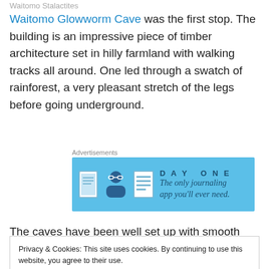Waitomo Stalactites
Waitomo Glowworm Cave was the first stop. The building is an impressive piece of timber architecture set in hilly farmland with walking tracks all around. One led through a swatch of rainforest, a very pleasant stretch of the legs before going underground.
[Figure (other): Day One app advertisement banner. Light blue background with icons and text: DAY ONE - The only journaling app you'll ever need.]
The caves have been well set up with smooth floors and
Privacy & Cookies: This site uses cookies. By continuing to use this website, you agree to their use.
To find out more, including how to control cookies, see here: Cookie Policy